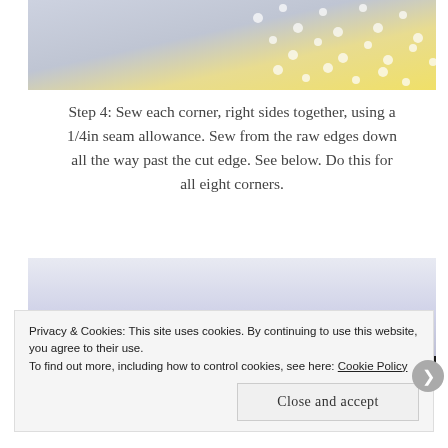[Figure (photo): Yellow polka dot fabric folded at corner on gray/blue background, top portion of image]
Step 4: Sew each corner, right sides together, using a 1/4in seam allowance. Sew from the raw edges down all the way past the cut edge. See below. Do this for all eight corners.
[Figure (photo): Light gray/lavender fabric or material against a pale background, with a red and black strip visible at the bottom]
Privacy & Cookies: This site uses cookies. By continuing to use this website, you agree to their use.
To find out more, including how to control cookies, see here: Cookie Policy
Close and accept